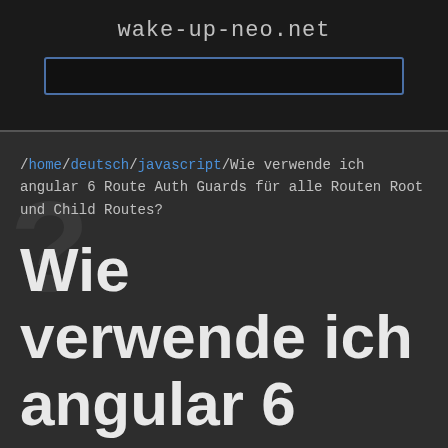wake-up-neo.net
[Figure (screenshot): Search input box with blue border on dark background]
/home/deutsch/javascript/Wie verwende ich angular 6 Route Auth Guards für alle Routen Root und Child Routes?
Wie verwende ich angular 6 Route Auth Guards für alle Routen Root